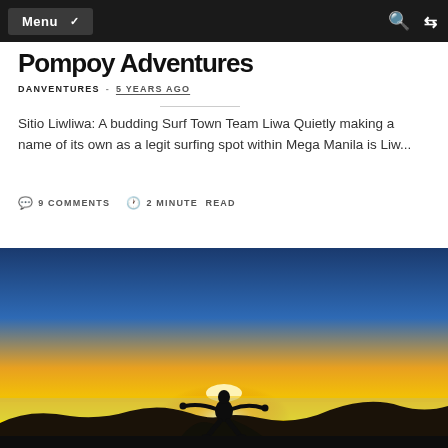Menu
Pompoy Adventures
DANVENTURES  -  5 YEARS AGO
Sitio Liwliwa: A budding Surf Town Team Liwa Quietly making a name of its own as a legit surfing spot within Mega Manila is Liw...
9 COMMENTS  2 MINUTE READ
[Figure (photo): Silhouette of a person in a squat pose with arms spread wide against a dramatic sunset sky with golden horizon and clouds below, taken from a mountain summit.]